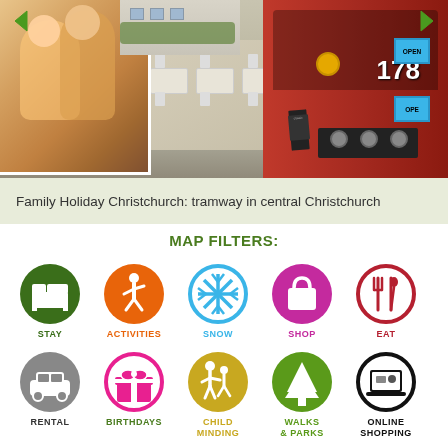[Figure (photo): Hero banner showing a family selfie on the left inset, an outdoor cafe with white chairs and tables in the middle, and a red historic tramcar numbered 178 on the right. Navigation arrows on both sides.]
Family Holiday Christchurch: tramway in central Christchurch
MAP FILTERS:
STAY
ACTIVITIES
SNOW
SHOP
EAT
RENTAL
BIRTHDAYS
CHILD MINDING
WALKS & PARKS
ONLINE SHOPPING